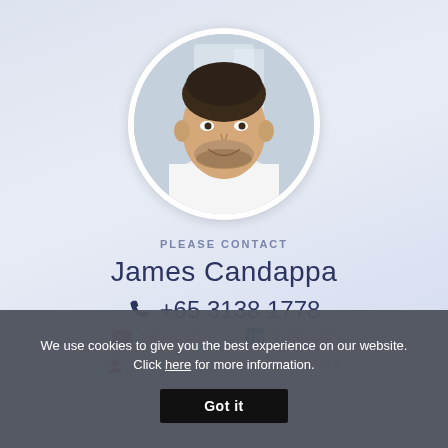[Figure (photo): Circular portrait photo of James Candappa, a man with dark hair and beard wearing a white shirt, smiling, in an office setting.]
PLEASE CONTACT
James Candappa
+65 3138 1778
EMAIL ME   CONNECT   SEE MY PROFILE & VACANCIES
We use cookies to give you the best experience on our website. Click here for more information.
Got it